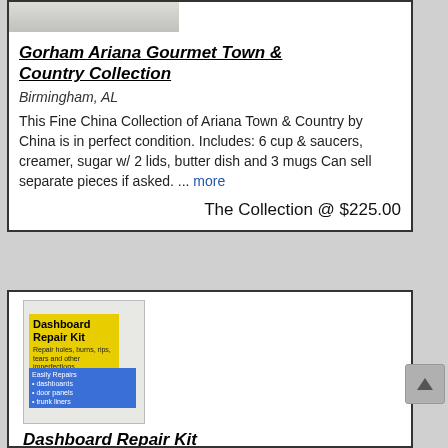[Figure (photo): Partial image of white/cream china dishes on a light background]
Gorham Ariana Gourmet Town & Country Collection
Birmingham, AL
This Fine China Collection of Ariana Town & Country by China is in perfect condition. Includes: 6 cup & saucers, creamer, sugar w/ 2 lids, butter dish and 3 mugs Can sell separate pieces if asked. ... more
The Collection @ $225.00
[Figure (photo): Dashboard Repair Kit product package image with yellow and blue label]
Dashboard Repair Kit